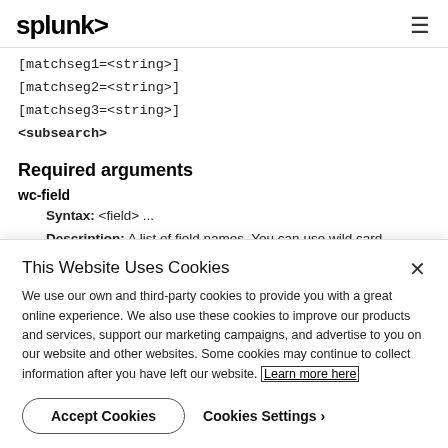splunk>
[matchseg1=<string>]
[matchseg2=<string>]
[matchseg3=<string>]
<subsearch>
Required arguments
wc-field
Syntax: <field> ...
Description: A list of field names. You can use wild card
This Website Uses Cookies
We use our own and third-party cookies to provide you with a great online experience. We also use these cookies to improve our products and services, support our marketing campaigns, and advertise to you on our website and other websites. Some cookies may continue to collect information after you have left our website. Learn more here
Accept Cookies
Cookies Settings ›